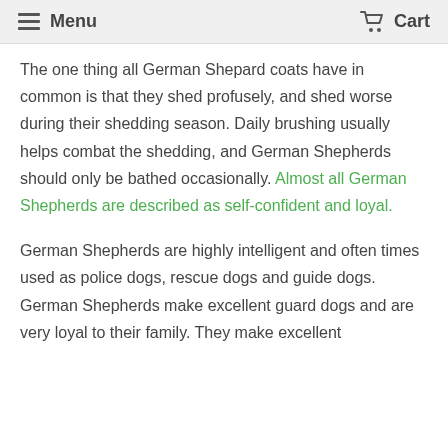Menu  Cart
The one thing all German Shepard coats have in common is that they shed profusely, and shed worse during their shedding season. Daily brushing usually helps combat the shedding, and German Shepherds should only be bathed occasionally. Almost all German Shepherds are described as self-confident and loyal.
German Shepherds are highly intelligent and often times used as police dogs, rescue dogs and guide dogs. German Shepherds make excellent guard dogs and are very loyal to their family. They make excellent